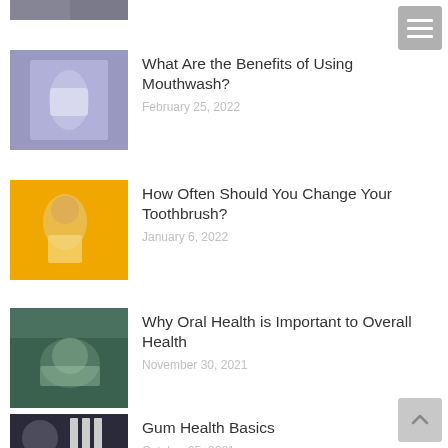[Figure (photo): Partial cropped photo at top of page]
[Figure (other): Hamburger menu icon button]
[Figure (photo): Person in purple shirt holding dental item thumbnail]
What Are the Benefits of Using Mouthwash?
February 25, 2022
[Figure (photo): Woman on yellow background brushing teeth thumbnail]
How Often Should You Change Your Toothbrush?
January 6, 2022
[Figure (photo): Patient at dentist with mouth open thumbnail]
Why Oral Health is Important to Overall Health
November 30, 2021
[Figure (photo): Man near dental tools thumbnail]
Gum Health Basics
October 25, 2021
[Figure (other): Scroll to top arrow button]